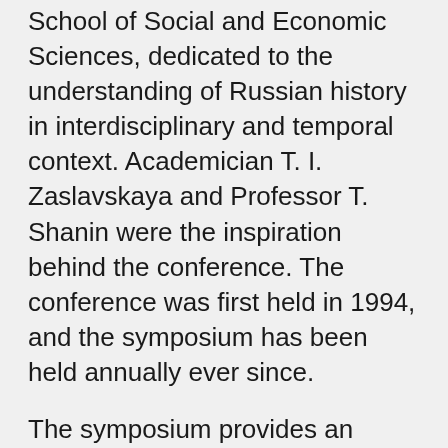School of Social and Economic Sciences, dedicated to the understanding of Russian history in interdisciplinary and temporal context. Academician T. I. Zaslavskaya and Professor T. Shanin were the inspiration behind the conference. The conference was first held in 1994, and the symposium has been held annually ever since.
The symposium provides an intellectual platform for scholars from Russia and the CIS countries along with foreign scholars studying Russia to discuss a wide spectrum of issues regarding transformation and directions for the development of today's Russian society.
Since the symposium's inception, its title has undergone a number of changes in an effort to reflect the nature of intellectual and societal trends in Russian society. For the first 10 years after its establishment, the symposium